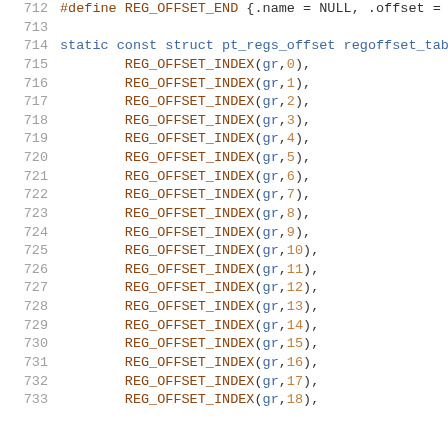712  #define REG_OFFSET_END {.name = NULL, .offset =
713
714  static const struct pt_regs_offset regoffset_tab
715          REG_OFFSET_INDEX(gr,0),
716          REG_OFFSET_INDEX(gr,1),
717          REG_OFFSET_INDEX(gr,2),
718          REG_OFFSET_INDEX(gr,3),
719          REG_OFFSET_INDEX(gr,4),
720          REG_OFFSET_INDEX(gr,5),
721          REG_OFFSET_INDEX(gr,6),
722          REG_OFFSET_INDEX(gr,7),
723          REG_OFFSET_INDEX(gr,8),
724          REG_OFFSET_INDEX(gr,9),
725          REG_OFFSET_INDEX(gr,10),
726          REG_OFFSET_INDEX(gr,11),
727          REG_OFFSET_INDEX(gr,12),
728          REG_OFFSET_INDEX(gr,13),
729          REG_OFFSET_INDEX(gr,14),
730          REG_OFFSET_INDEX(gr,15),
731          REG_OFFSET_INDEX(gr,16),
732          REG_OFFSET_INDEX(gr,17),
733          REG_OFFSET_INDEX(gr,18),